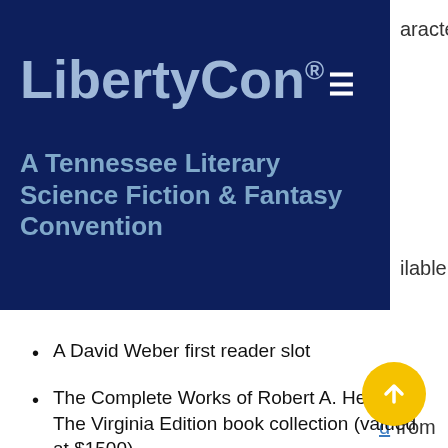[Figure (screenshot): LibertyCon website header banner with dark navy blue background showing the LibertyCon registered trademark logo and tagline 'A Tennessee Literary Science Fiction & Fantasy Convention', with a hamburger menu icon.]
aracter
ailable
d from
A David Weber first reader slot
The Complete Works of Robert A. Heinlein-The Virginia Edition book collection (valued at $1500)
Melissa Gay's Charity Art Jam painting
A stained glass piece created by Leia Powell during her presentation